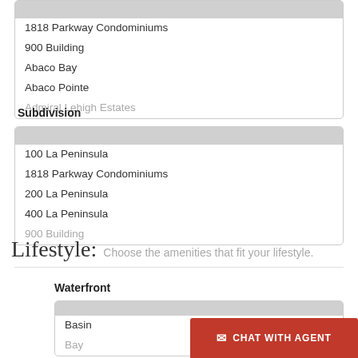1818 Parkway Condominiums
900 Building
Abaco Bay
Abaco Pointe
Admiral Lehigh Estates
Subdivision
100 La Peninsula
1818 Parkway Condominiums
200 La Peninsula
400 La Peninsula
900 Building
Lifestyle:  Choose the amenities that fit your lifestyle.
Waterfront
Basin
Bay
CHAT WITH AGENT